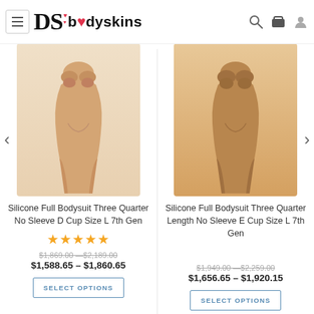DS bodyskins
[Figure (photo): Product photo of Silicone Full Bodysuit Three Quarter No Sleeve D Cup Size L 7th Gen - front view, skin tone mannequin torso, light beige color]
Silicone Full Bodysuit Three Quarter No Sleeve D Cup Size L 7th Gen
★★★★★
$1,869.00 — $2,189.00
$1,588.65 – $1,860.65
SELECT OPTIONS
[Figure (photo): Product photo of Silicone Full Bodysuit Three Quarter Length No Sleeve E Cup Size L 7th Gen - front view, skin tone mannequin torso, darker beige/tan color]
Silicone Full Bodysuit Three Quarter Length No Sleeve E Cup Size L 7th Gen
$1,949.00 — $2,259.00
$1,656.65 – $1,920.15
SELECT OPTIONS